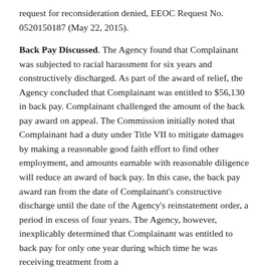request for reconsideration denied, EEOC Request No. 0520150187 (May 22, 2015).
Back Pay Discussed. The Agency found that Complainant was subjected to racial harassment for six years and constructively discharged. As part of the award of relief, the Agency concluded that Complainant was entitled to $56,130 in back pay. Complainant challenged the amount of the back pay award on appeal. The Commission initially noted that Complainant had a duty under Title VII to mitigate damages by making a reasonable good faith effort to find other employment, and amounts earnable with reasonable diligence will reduce an award of back pay. In this case, the back pay award ran from the date of Complainant's constructive discharge until the date of the Agency's reinstatement order, a period in excess of four years. The Agency, however, inexplicably determined that Complainant was entitled to back pay for only one year during which time he was receiving treatment from a